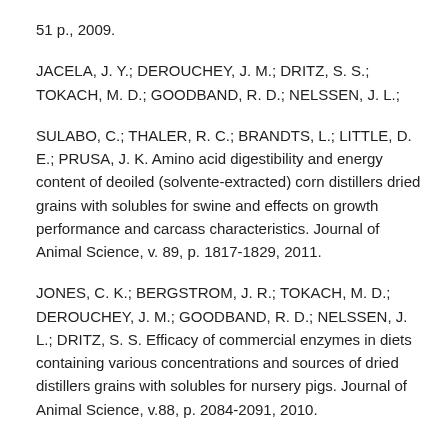51 p., 2009.
JACELA, J. Y.; DEROUCHEY, J. M.; DRITZ, S. S.; TOKACH, M. D.; GOODBAND, R. D.; NELSSEN, J. L.;
SULABO, C.; THALER, R. C.; BRANDTS, L.; LITTLE, D. E.; PRUSA, J. K. Amino acid digestibility and energy content of deoiled (solvente-extracted) corn distillers dried grains with solubles for swine and effects on growth performance and carcass characteristics. Journal of Animal Science, v. 89, p. 1817-1829, 2011.
JONES, C. K.; BERGSTROM, J. R.; TOKACH, M. D.; DEROUCHEY, J. M.; GOODBAND, R. D.; NELSSEN, J. L.; DRITZ, S. S. Efficacy of commercial enzymes in diets containing various concentrations and sources of dried distillers grains with solubles for nursery pigs. Journal of Animal Science, v.88, p. 2084-2091, 2010.